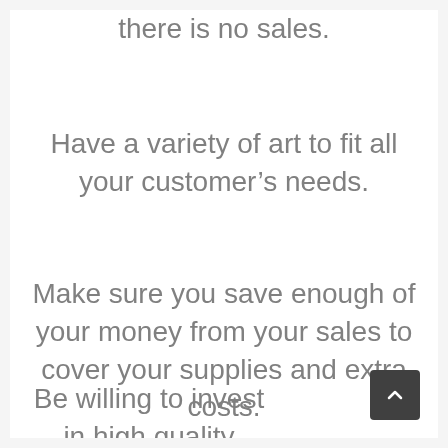there is no sales.
Have a variety of art to fit all your customer’s needs.
Make sure you save enough of your money from your sales to cover your supplies and extra costs.
Be willing to invest in high quality materials, including